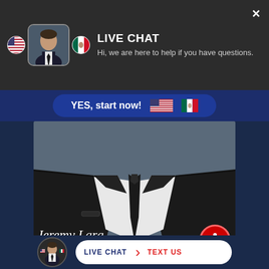LIVE CHAT
Hi, we are here to help if you have questions.
YES, start now!
[Figure (photo): Attorney in dark suit and black tie, torso/chest view without face visible]
Jeremy Lara
Attorney
LIVE CHAT  TEXT US